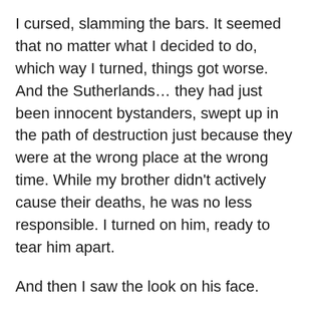I cursed, slamming the bars. It seemed that no matter what I decided to do, which way I turned, things got worse. And the Sutherlands… they had just been innocent bystanders, swept up in the path of destruction just because they were at the wrong place at the wrong time. While my brother didn't actively cause their deaths, he was no less responsible. I turned on him, ready to tear him apart.
And then I saw the look on his face.
Damon's eyes had glazed over and he leaned against the wall for support. He'd worn the